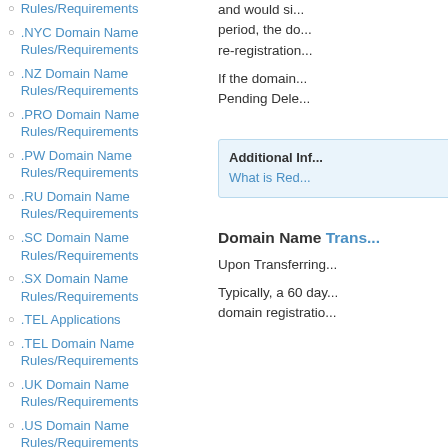Rules/Requirements
.NYC Domain Name Rules/Requirements
.NZ Domain Name Rules/Requirements
.PRO Domain Name Rules/Requirements
.PW Domain Name Rules/Requirements
.RU Domain Name Rules/Requirements
.SC Domain Name Rules/Requirements
.SX Domain Name Rules/Requirements
.TEL Applications
.TEL Domain Name Rules/Requirements
.UK Domain Name Rules/Requirements
.US Domain Name Rules/Requirements
and would si... period, the do... re-registration...
If the domain... Pending Dele...
Additional Inf...
What is Red...
Domain Name Trans...
Upon Transferring...
Typically, a 60 day... domain registratio...